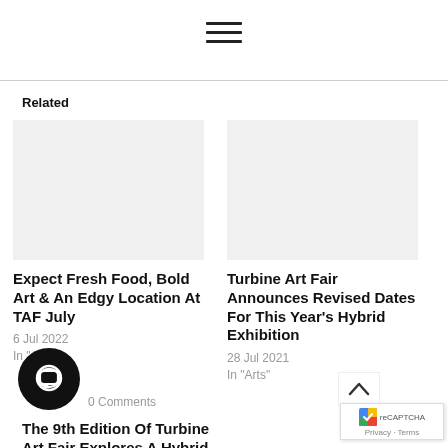[Figure (other): Hamburger menu icon with three horizontal lines]
Related
[Figure (photo): Blank/white image placeholder for article card 1]
Expect Fresh Food, Bold Art & An Edgy Location At TAF July
6 Jul 2022
In "Arts"
[Figure (photo): Blank/white image placeholder for article card 2]
Turbine Art Fair Announces Revised Dates For This Year's Hybrid Exhibition
28 Jul 2021
In "Arts"
[Figure (other): Black circular comment/chat bubble icon]
0 Comments
The 9th Edition Of Turbine Art Fair Explores A Hybrid...